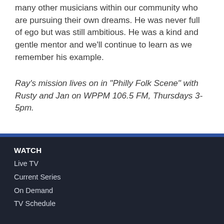many other musicians within our community who are pursuing their own dreams. He was never full of ego but was still ambitious. He was a kind and gentle mentor and we'll continue to learn as we remember his example.
Ray's mission lives on in "Philly Folk Scene" with Rusty and Jan on WPPM 106.5 FM, Thursdays 3-5pm.
WATCH
Live TV
Current Series
On Demand
TV Schedule